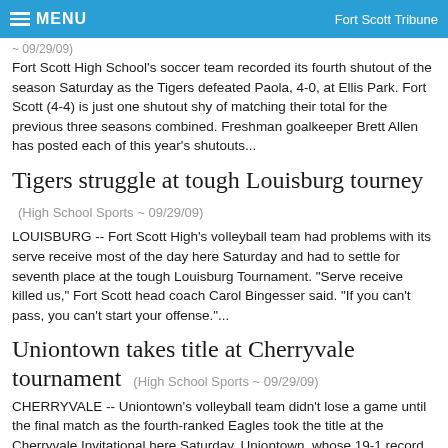MENU | Fort Scott Tribune
~ 09/29/09)
Fort Scott High School's soccer team recorded its fourth shutout of the season Saturday as the Tigers defeated Paola, 4-0, at Ellis Park. Fort Scott (4-4) is just one shutout shy of matching their total for the previous three seasons combined. Freshman goalkeeper Brett Allen has posted each of this year's shutouts...
Tigers struggle at tough Louisburg tourney (High School Sports ~ 09/29/09)
LOUISBURG -- Fort Scott High's volleyball team had problems with its serve receive most of the day here Saturday and had to settle for seventh place at the tough Louisburg Tournament. "Serve receive killed us," Fort Scott head coach Carol Bingesser said. "If you can't pass, you can't start your offense."...
Uniontown takes title at Cherryvale tournament (High School Sports ~ 09/29/09)
CHERRYVALE -- Uniontown's volleyball team didn't lose a game until the final match as the fourth-ranked Eagles took the title at the Cherryvale Invitational here Saturday. Uniontown, whose 19-1 record have earned them the recognition in Class 2A in the Kansas Volleyball Coaches Association